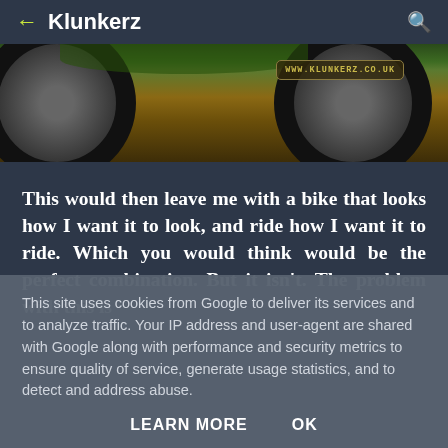← Klunkerz 🔍
[Figure (photo): Outdoor photo showing close-up of bicycle wheels/tires on forest floor with leaves, with a watermark badge reading www.klunkerz.co.uk in the upper right area of the image.]
This would then leave me with a bike that looks how I want it to look, and ride how I want it to ride. Which you would think would be the perfect combination. But it isn't. The problem with this is
This site uses cookies from Google to deliver its services and to analyze traffic. Your IP address and user-agent are shared with Google along with performance and security metrics to ensure quality of service, generate usage statistics, and to detect and address abuse.
LEARN MORE    OK